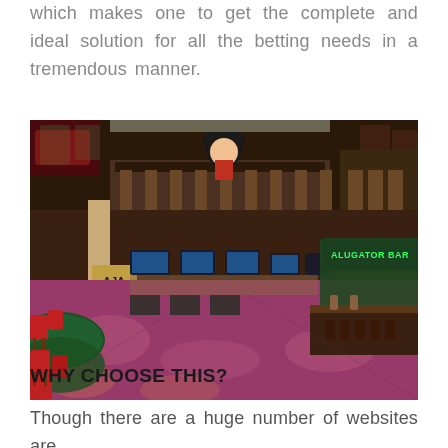which makes one to get the complete and ideal solution for all the betting needs in a tremendous manner.
[Figure (photo): Interior of a large casino floor with red chairs, gaming tables, patterned carpet, bar area with 'ALUGATOR BAR' sign, decorative Mickey Mouse figure hanging from ceiling, and multiple TV screens]
WHY CHOOSE THIS?
Though there are a huge number of websites are